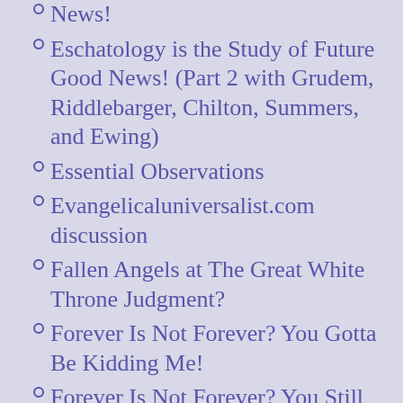News!
Eschatology is the Study of Future Good News! (Part 2 with Grudem, Riddlebarger, Chilton, Summers, and Ewing)
Essential Observations
Evangelicaluniversalist.com discussion
Fallen Angels at The Great White Throne Judgment?
Forever Is Not Forever? You Gotta Be Kidding Me!
Forever Is Not Forever? You Still Gotta Be Kidding Me!
God is Not a Retributivist!
Have Other Christians Made this Observation?
Hebrews 2:16 Does Not Say Fallen Angels